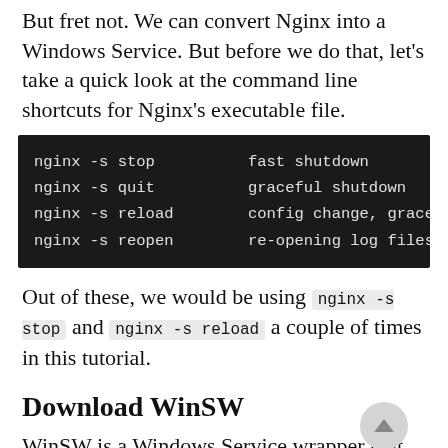But fret not. We can convert Nginx into a Windows Service. But before we do that, let's take a quick look at the command line shortcuts for Nginx's executable file.
[Figure (screenshot): Dark terminal/code block showing nginx command line shortcuts: 'nginx -s stop' for fast shutdown, 'nginx -s quit' for graceful shutdown, 'nginx -s reload' for config change graceful s[hutdown], 'nginx -s reopen' for re-opening log files]
Out of these, we would be using nginx -s stop and nginx -s reload a couple of times in this tutorial.
Download WinSW
WinSW is a Windows Service wrapper that allows us to use any executable as a Windows Service.